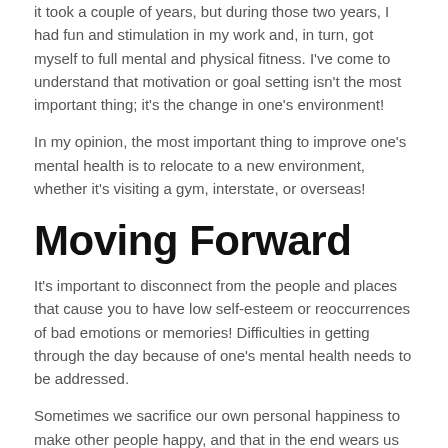it took a couple of years, but during those two years, I had fun and stimulation in my work and, in turn, got myself to full mental and physical fitness. I've come to understand that motivation or goal setting isn't the most important thing; it's the change in one's environment!
In my opinion, the most important thing to improve one's mental health is to relocate to a new environment, whether it's visiting a gym, interstate, or overseas!
Moving Forward
It's important to disconnect from the people and places that cause you to have low self-esteem or reoccurrences of bad emotions or memories! Difficulties in getting through the day because of one's mental health needs to be addressed.
Sometimes we sacrifice our own personal happiness to make other people happy, and that in the end wears us down if the sacrifice isn't at least reciprocated.